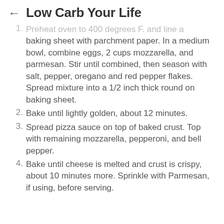Low Carb Your Life
1. Preheat oven to 400 degrees F. and line a baking sheet with parchment paper. In a medium bowl, combine eggs, 2 cups mozzarella, and parmesan. Stir until combined, then season with salt, pepper, oregano and red pepper flakes. Spread mixture into a 1/2 inch thick round on baking sheet.
2. Bake until lightly golden, about 12 minutes.
3. Spread pizza sauce on top of baked crust. Top with remaining mozzarella, pepperoni, and bell pepper.
4. Bake until cheese is melted and crust is crispy, about 10 minutes more. Sprinkle with Parmesan, if using, before serving.